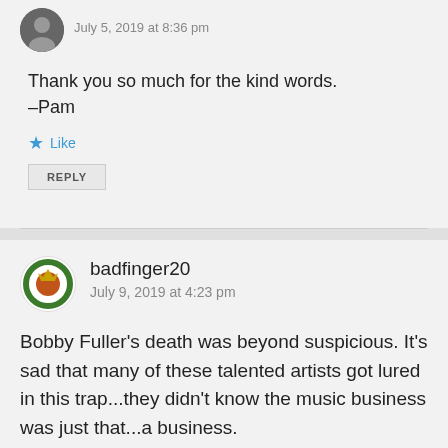July 5, 2019 at 8:36 pm
Thank you so much for the kind words.
–Pam
Like
REPLY
badfinger20
July 9, 2019 at 4:23 pm
Bobby Fuller's death was beyond suspicious. It's sad that many of these talented artists got lured in this trap...they didn't know the music business was just that...a business.